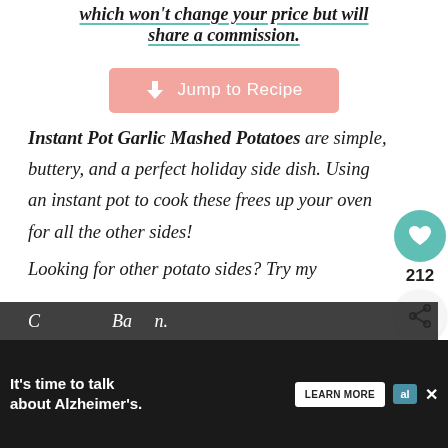which won't change your price but will share a commission.
Jump to Recipe
Instant Pot Garlic Mashed Potatoes are simple, buttery, and a perfect holiday side dish. Using an instant pot to cook these frees up your oven for all the other sides!
Looking for other potato sides? Try my
[Figure (other): WHAT'S NEXT widget showing Instant Pot Mashed Swe... with thumbnail]
It's time to talk about Alzheimer's. LEARN MORE alzheimer's association